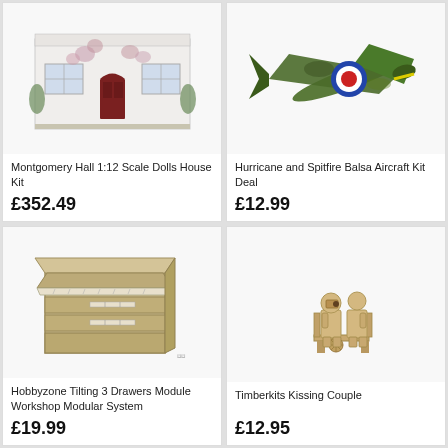[Figure (photo): Montgomery Hall 1:12 Scale Dolls House Kit - white house model with red door and climbing plants]
Montgomery Hall 1:12 Scale Dolls House Kit
£352.49
[Figure (photo): Hurricane and Spitfire Balsa Aircraft Kit Deal - model aircraft with RAF roundel markings]
Hurricane and Spitfire Balsa Aircraft Kit Deal
£12.99
[Figure (photo): Hobbyzone Tilting 3 Drawers Module Workshop Modular System - wooden modular drawer storage unit]
Hobbyzone Tilting 3 Drawers Module Workshop Modular System
£19.99
[Figure (photo): Timberkits Kissing Couple - wooden articulated figurines of a couple sitting and kissing]
Timberkits Kissing Couple
£12.95